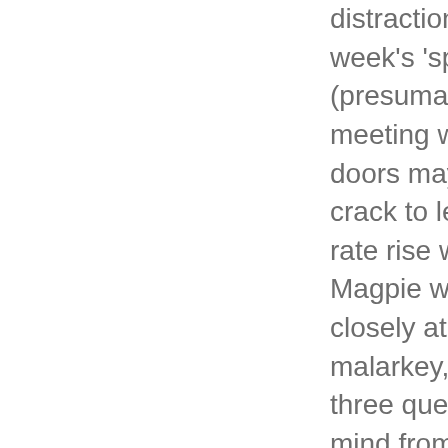distraction ahead of next week's 'special' council (presumably) budget meeting where the closed doors may be opened just a crack to let us know what rate rise we're in for.The Magpie will be looking more closely at this boardwalk malarkey, but immediately three questions spring to mind from the unquestioning Bulletin story: